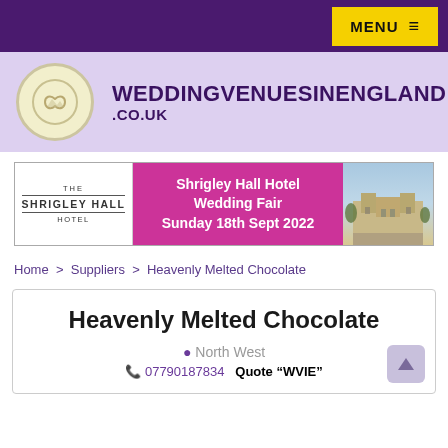MENU ≡
[Figure (logo): WeddingVenuesInEngland.co.uk logo with circular heart/infinity symbol on lavender background]
[Figure (infographic): Shrigley Hall Hotel Wedding Fair Sunday 18th Sept 2022 banner advertisement]
Home > Suppliers > Heavenly Melted Chocolate
Heavenly Melted Chocolate
📍 North West
📞 07790187834  Quote "WVIE"